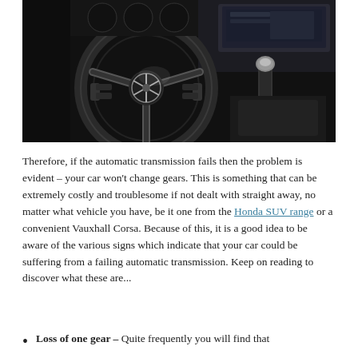[Figure (photo): Close-up photo of a Mercedes-Benz car interior showing the steering wheel with the Mercedes star logo, dashboard controls, infotainment screen, and gear shift lever.]
Therefore, if the automatic transmission fails then the problem is evident – your car won't change gears. This is something that can be extremely costly and troublesome if not dealt with straight away, no matter what vehicle you have, be it one from the Honda SUV range or a convenient Vauxhall Corsa. Because of this, it is a good idea to be aware of the various signs which indicate that your car could be suffering from a failing automatic transmission. Keep on reading to discover what these are...
Loss of one gear – Quite frequently you will find that